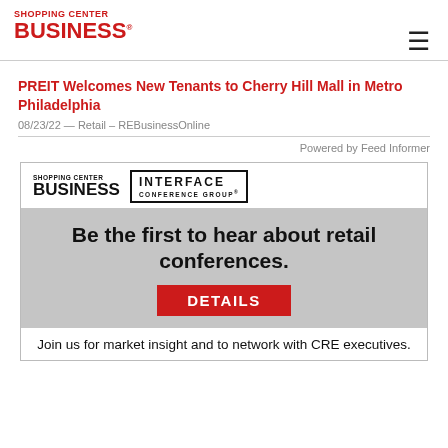SHOPPING CENTER BUSINESS
PREIT Welcomes New Tenants to Cherry Hill Mall in Metro Philadelphia
08/23/22 — Retail – REBusinessOnline
Powered by Feed Informer
[Figure (infographic): Shopping Center Business and Interface Conference Group advertisement. Gray background section reads: 'Be the first to hear about retail conferences.' with red DETAILS button. Below: 'Join us for market insight and to network with CRE executives.']